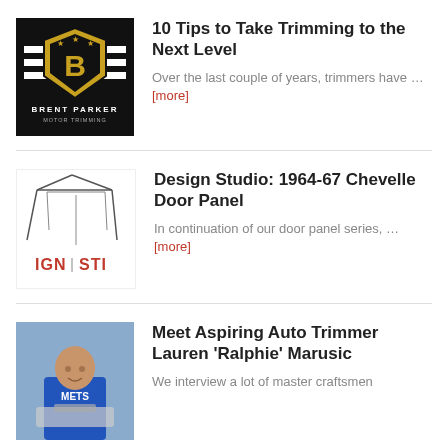[Figure (logo): Brent Parker Motor Trimming logo - black background with gold shield emblem and horizontal stripes]
10 Tips to Take Trimming to the Next Level
Over the last couple of years, trimmers have … [more]
[Figure (illustration): Design Studio illustration showing a car door panel line drawing with IGN-STI logo in red]
Design Studio: 1964-67 Chevelle Door Panel
In continuation of our door panel series, … [more]
[Figure (photo): Photo of Lauren 'Ralphie' Marusic, a young woman in a blue shirt working at a sewing machine]
Meet Aspiring Auto Trimmer Lauren 'Ralphie' Marusic
We interview a lot of master craftsmen